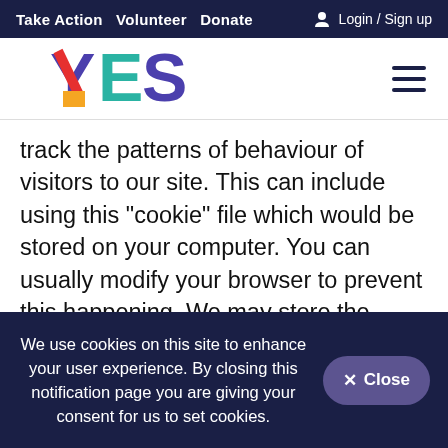Take Action  Volunteer  Donate  Login / Sign up
[Figure (logo): YES logo with colorful letters: Y in purple/red/orange, E in teal/green, S in purple]
track the patterns of behaviour of visitors to our site. This can include using this "cookie" file which would be stored on your computer. You can usually modify your browser to prevent this happening. We may store the internet address you connect to our computer with, the time and date you
We use cookies on this site to enhance your user experience. By closing this notification page you are giving your consent for us to set cookies.